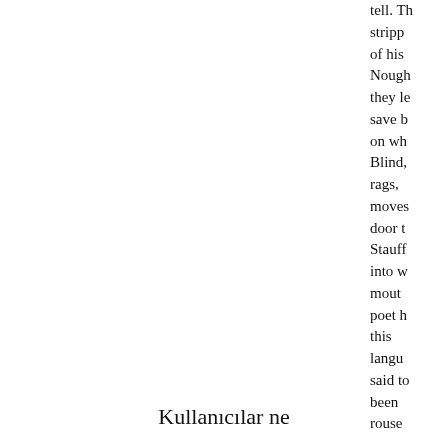tell. Th stripp of his Nough they le save b on wh Blind, rags, moves door t Stauff into w mout poet h this langu said t been rouse
Kullanıcılar ne